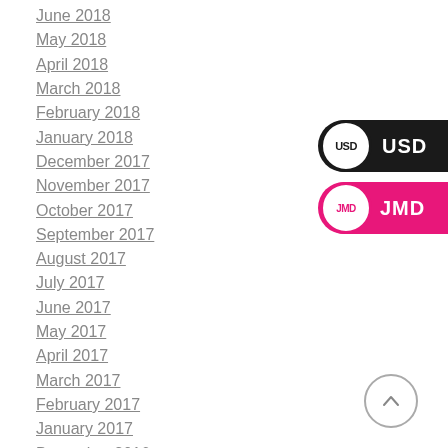June 2018
May 2018
April 2018
March 2018
February 2018
January 2018
December 2017
November 2017
October 2017
September 2017
August 2017
July 2017
June 2017
May 2017
April 2017
March 2017
February 2017
January 2017
December 2016
November 2016
October 2016
September 2016
[Figure (other): USD currency selector button — dark background with white circle showing USD text]
[Figure (other): JMD currency selector button — pink/magenta background with white circle showing JMD text]
[Figure (other): Scroll-to-top circular button with upward arrow]